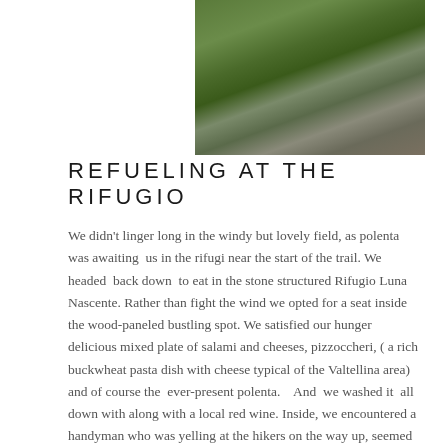[Figure (photo): Outdoor photo showing rocky terrain with green vegetation and stone structures in a mountainous landscape]
REFUELING AT THE RIFUGIO
We didn't linger long in the windy but lovely field, as polenta was awaiting us in the rifugi near the start of the trail. We headed back down to eat in the stone structured Rifugio Luna Nascente. Rather than fight the wind we opted for a seat inside the wood-paneled bustling spot. We satisfied our hunger delicious mixed plate of salami and cheeses, pizzoccheri, ( a rich buckwheat pasta dish with cheese typical of the Valtellina area) and of course the ever-present polenta.   And we washed it all down with along with a local red wine. Inside, we encountered a handyman who was yelling at the hikers on the way up, seemed slightly less irritated now chattier now. He talked to us about his screwdriver emphasizing he that he never lends it out. It seemed that loose screws were an issue in more than the rifugio.